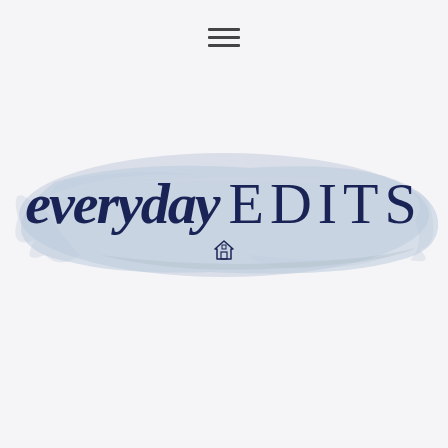[Figure (logo): Hamburger menu icon (three horizontal lines) centered near the top of the page]
[Figure (logo): everyday EDITS brand logo with script 'everyday' and serif 'EDITS' text overlaid on a blue watercolor brushstroke background, with a small house icon below the text]